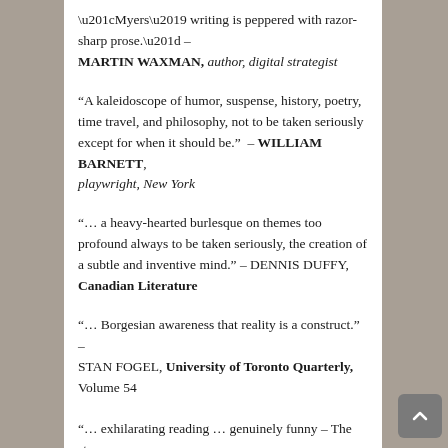“Myers’ writing is peppered with razor-sharp prose.” – MARTIN WAXMAN, author, digital strategist
“A kaleidoscope of humor, suspense, history, poetry, time travel, and philosophy, not to be taken seriously except for when it should be.” – WILLIAM BARNETT, playwright, New York
“… a heavy-hearted burlesque on themes too profound always to be taken seriously, the creation of a subtle and inventive mind.” – DENNIS DUFFY, Canadian Literature
“… Borgesian awareness that reality is a construct.” – STAN FOGEL, University of Toronto Quarterly, Volume 54
“… exhilarating reading … genuinely funny – The stor…